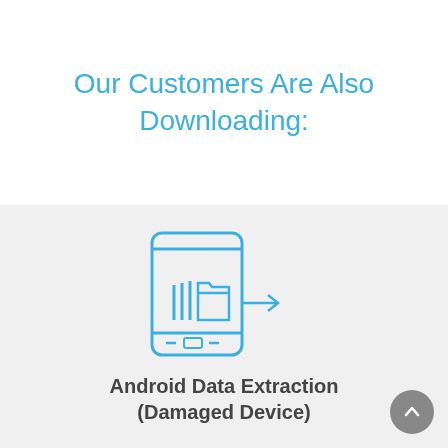Our Customers Are Also Downloading:
[Figure (illustration): Icon of a smartphone with files/folders being transferred out via an arrow, representing Android data extraction]
Android Data Extraction (Damaged Device)